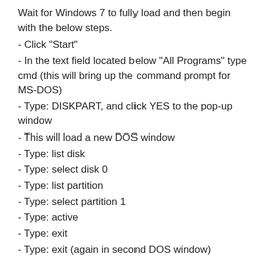Wait for Windows 7 to fully load and then begin with the below steps.
- Click "Start"
- In the text field located below "All Programs" type cmd (this will bring up the command prompt for MS-DOS)
- Type: DISKPART, and click YES to the pop-up window
- This will load a new DOS window
- Type: list disk
- Type: select disk 0
- Type: list partition
- Type: select partition 1
- Type: active
- Type: exit
- Type: exit (again in second DOS window)
- Now restart your computer again
- When system boots backup, press F8 to bring up your bootloader screen (you should now see both Windows 7 & OSx as selectable options)
- Type: -f (first boot after OSx install)
- It will appear as though the system is hanging. It isn't. Just